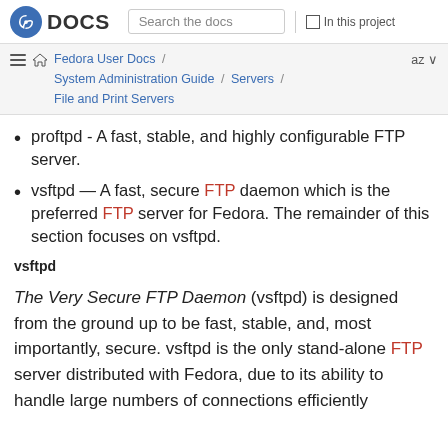Fedora DOCS — Search the docs | In this project
Fedora User Docs / System Administration Guide / Servers / File and Print Servers — az
proftpd - A fast, stable, and highly configurable FTP server.
vsftpd — A fast, secure FTP daemon which is the preferred FTP server for Fedora. The remainder of this section focuses on vsftpd.
vsftpd
The Very Secure FTP Daemon (vsftpd) is designed from the ground up to be fast, stable, and, most importantly, secure. vsftpd is the only stand-alone FTP server distributed with Fedora, due to its ability to handle large numbers of connections efficiently